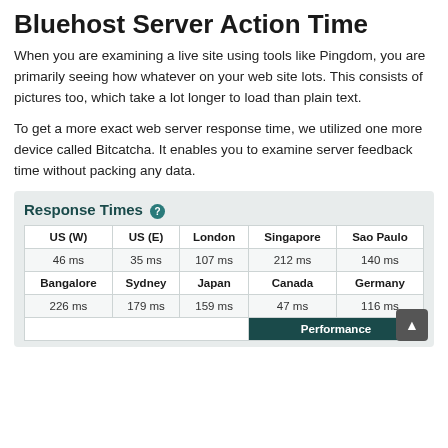Bluehost Server Action Time
When you are examining a live site using tools like Pingdom, you are primarily seeing how whatever on your web site lots. This consists of pictures too, which take a lot longer to load than plain text.
To get a more exact web server response time, we utilized one more device called Bitcatcha. It enables you to examine server feedback time without packing any data.
| US (W) | US (E) | London | Singapore | Sao Paulo | Bangalore | Sydney | Japan | Canada | Germany |
| --- | --- | --- | --- | --- | --- | --- | --- | --- | --- |
| 46 ms | 35 ms | 107 ms | 212 ms | 140 ms |
| 226 ms | 179 ms | 159 ms | 47 ms | 116 ms |